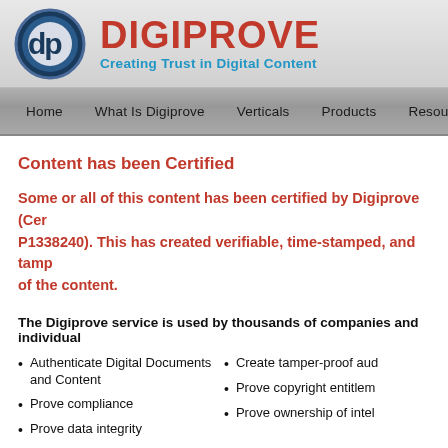[Figure (logo): Digiprove logo: circular navy/blue emblem with 'dp' letters, next to 'DIGIPROVE' in red bold and 'Creating Trust in Digital Content' in blue]
Home  What Is Digiprove  Verticals  Products  Resources  Pricing
Content has been Certified
Some or all of this content has been certified by Digiprove (Certificate number: P1338240). This has created verifiable, time-stamped, and tamper-proof records of the content.
The Digiprove service is used by thousands of companies and individual
Authenticate Digital Documents and Content
Prove compliance
Prove data integrity
Protect legal position
Create tamper-proof aud
Prove copyright entitlem
Prove ownership of intel